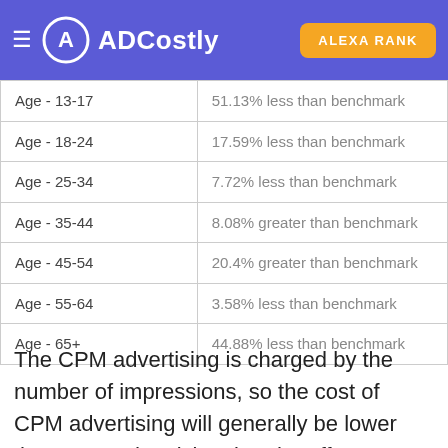ADCostly | ALEXA RANK
| Age - 13-17 | 51.13% less than benchmark |
| Age - 18-24 | 17.59% less than benchmark |
| Age - 25-34 | 7.72% less than benchmark |
| Age - 35-44 | 8.08% greater than benchmark |
| Age - 45-54 | 20.4% greater than benchmark |
| Age - 55-64 | 3.58% less than benchmark |
| Age - 65+ | 44.88% less than benchmark |
The CPM advertising is charged by the number of impressions, so the cost of CPM advertising will generally be lower than CPC advertising, but the effect may not. 2021 October Finance